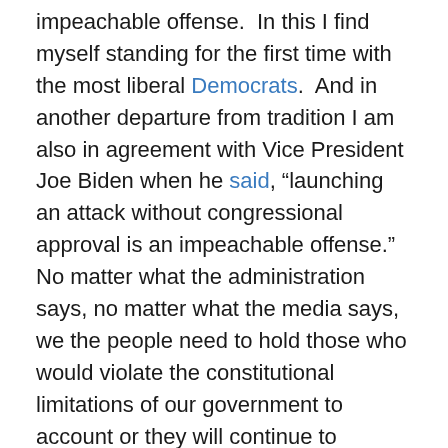impeachable offense.  In this I find myself standing for the first time with the most liberal Democrats.  And in another departure from tradition I am also in agreement with Vice President Joe Biden when he said, “launching an attack without congressional approval is an impeachable offense.”   No matter what the administration says, no matter what the media says, we the people need to hold those who would violate the constitutional limitations of our government to account or they will continue to transgress the limits and do whatever they want.
In another quote that seems as relevant today as it was fifteen years ago Senator Dole asked, “When do the American people rise up and say, ‘Forget the media in America! We’re going to make up our minds! You’re not going to make up our minds!’ This is about saving our country!”